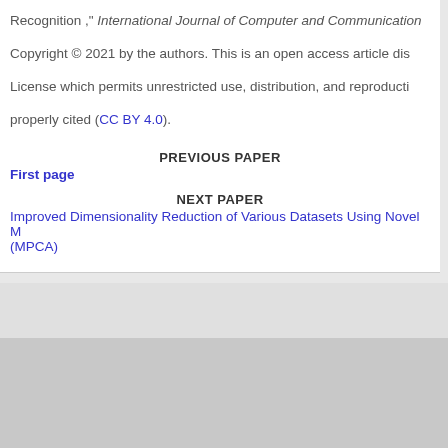Recognition ," International Journal of Computer and Communication
Copyright © 2021 by the authors. This is an open access article dis
License which permits unrestricted use, distribution, and reproducti
properly cited (CC BY 4.0).
PREVIOUS PAPER
First page
NEXT PAPER
Improved Dimensionality Reduction of Various Datasets Using Novel M (MPCA)